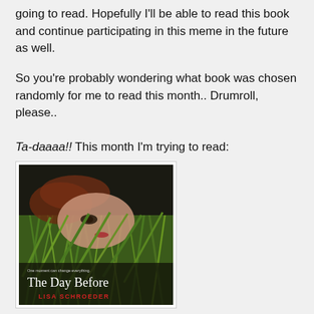going to read. Hopefully I'll be able to read this book and continue participating in this meme in the future as well.
So you're probably wondering what book was chosen randomly for me to read this month.. Drumroll, please..
Ta-daaaa!! This month I'm trying to read:
[Figure (photo): Book cover of 'The Day Before' by Lisa Schroeder. Shows a girl lying in green grass with red hair. Title 'The Day Before' in white serif font at the bottom, author 'LISA SCHROEDER' in red letters below. Small tagline 'One moment can change everything.' above the title.]